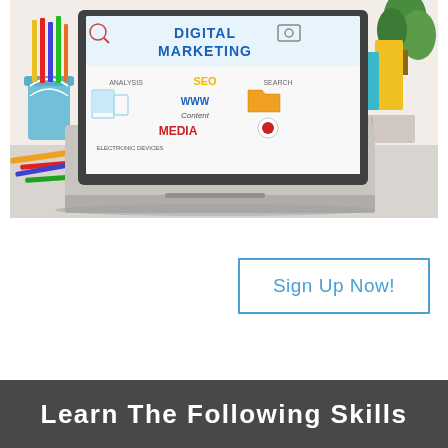[Figure (photo): A laptop on a desk displaying a Digital Marketing infographic with text: DIGITAL MARKETING, ANALYSIS, SEO, SEARCH, WWW, Content, MEDIA, ELECTRONIC DEVICES. Desk has colored pencils in a pencil holder, notebooks, and colorful books in the background.]
Sign Up Now!
Learn The Following Skills